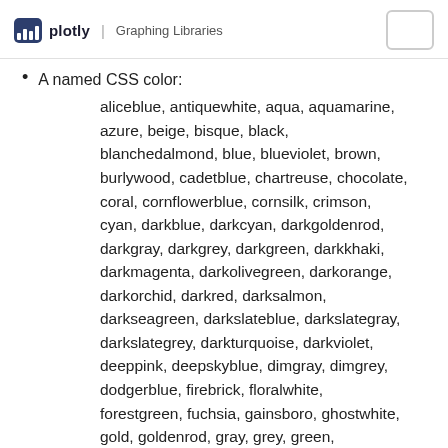plotly | Graphing Libraries
A named CSS color:
aliceblue, antiquewhite, aqua, aquamarine, azure, beige, bisque, black, blanchedalmond, blue, blueviolet, brown, burlywood, cadetblue, chartreuse, chocolate, coral, cornflowerblue, cornsilk, crimson, cyan, darkblue, darkcyan, darkgoldenrod, darkgray, darkgrey, darkgreen, darkkhaki, darkmagenta, darkolivegreen, darkorange, darkorchid, darkred, darksalmon, darkseagreen, darkslateblue, darkslategray, darkslategrey, darkturquoise, darkviolet, deeppink, deepskyblue, dimgray, dimgrey, dodgerblue, firebrick, floralwhite, forestgreen, fuchsia, gainsboro, ghostwhite, gold, goldenrod, gray, grey, green, greenyellow, honeydew, hotpink, indianred, indigo, ivory, khaki, lavender, lavenderblush,